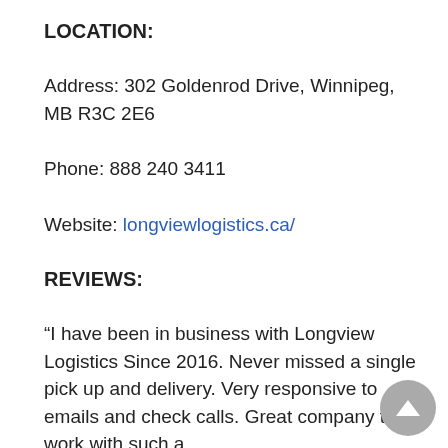LOCATION:
Address: 302 Goldenrod Drive, Winnipeg, MB R3C 2E6
Phone: 888 240 3411
Website: longviewlogistics.ca/
REVIEWS:
“I have been in business with Longview Logistics Since 2016. Never missed a single pick up and delivery. Very responsive to emails and check calls. Great company to work with such a